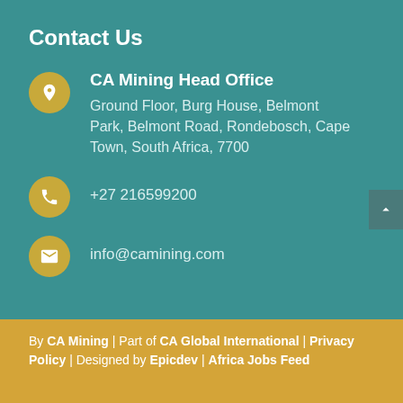Contact Us
CA Mining Head Office
Ground Floor, Burg House, Belmont Park, Belmont Road, Rondebosch, Cape Town, South Africa, 7700
+27 216599200
info@camining.com
By CA Mining | Part of CA Global International | Privacy Policy | Designed by Epicdev | Africa Jobs Feed